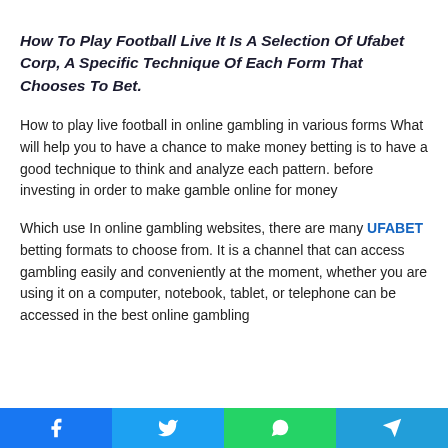How To Play Football Live It Is A Selection Of Ufabet Corp, A Specific Technique Of Each Form That Chooses To Bet.
How to play live football in online gambling in various forms What will help you to have a chance to make money betting is to have a good technique to think and analyze each pattern. before investing in order to make gamble online for money
Which use In online gambling websites, there are many UFABET betting formats to choose from. It is a channel that can access gambling easily and conveniently at the moment, whether you are using it on a computer, notebook, tablet, or telephone can be accessed in the best online gambling